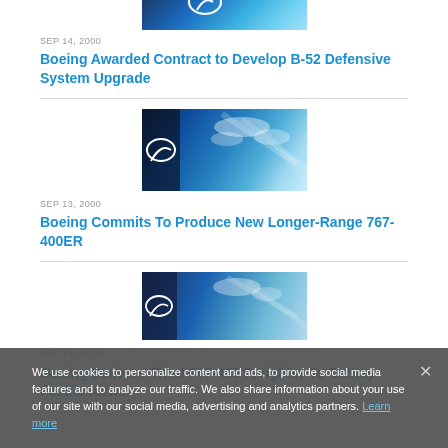[Figure (photo): Boeing logo on blue sky background, partial crop at top]
SEP 14, 2000
Boeing Awarded Contract to Develop B-52 Defensive System Upgrade
[Figure (photo): Boeing logo on building against blue sky with clouds]
SEP 13, 2000
Boeing Commits To Produce New Longer-Range 767-400ER
[Figure (photo): Partial Boeing logo image, partially obscured by cookie banner]
SEP 12, 2000
Boeing Delivers Third 747-400 Freighter To Cathay Pacific Airways
We use cookies to personalize content and ads, to provide social media features and to analyze our traffic. We also share information about your use of our site with our social media, advertising and analytics partners. Learn more